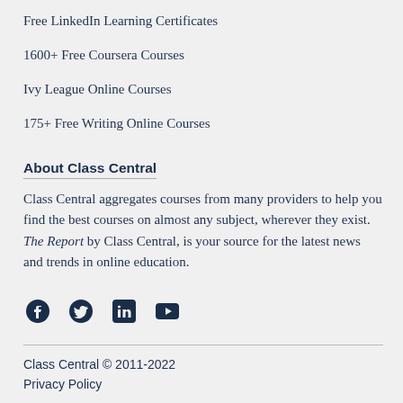Free LinkedIn Learning Certificates
1600+ Free Coursera Courses
Ivy League Online Courses
175+ Free Writing Online Courses
About Class Central
Class Central aggregates courses from many providers to help you find the best courses on almost any subject, wherever they exist. The Report by Class Central, is your source for the latest news and trends in online education.
[Figure (illustration): Social media icons: Facebook, Twitter, LinkedIn, YouTube]
Class Central © 2011-2022
Privacy Policy
About Us
Class Central © 2011-2022
Privacy Policy